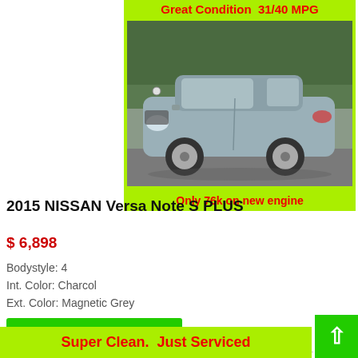[Figure (photo): Photo of a silver/grey 2015 Nissan Versa Note S PLUS hatchback parked outdoors with trees in background, displayed on a lime green banner background. Top banner reads 'Great Condition  31/40 MPG' and bottom banner reads 'Only 76k on new engine'.]
2015 NISSAN Versa Note S PLUS
$ 6,898
Bodystyle: 4
Int. Color: Charcol
Ext. Color: Magnetic Grey
DETAILS
Super Clean.  Just Serviced